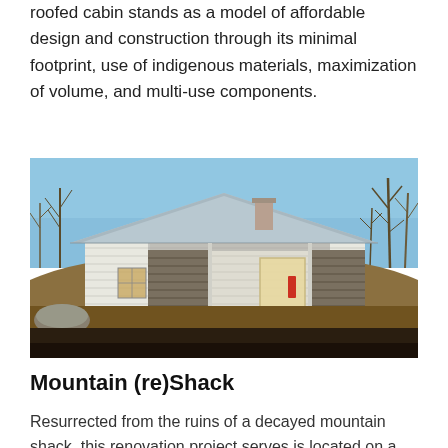roofed cabin stands as a model of affordable design and construction through its minimal footprint, use of indigenous materials, maximization of volume, and multi-use components.
[Figure (photo): Exterior photograph of a small white wood-sided cabin with a metal roof, covered front porch, chimney, set on a hillside with bare trees in background, golden hour lighting.]
Mountain (re)Shack
Resurrected from the ruins of a decayed mountain shack, this renovation project serves is located on a small farm in